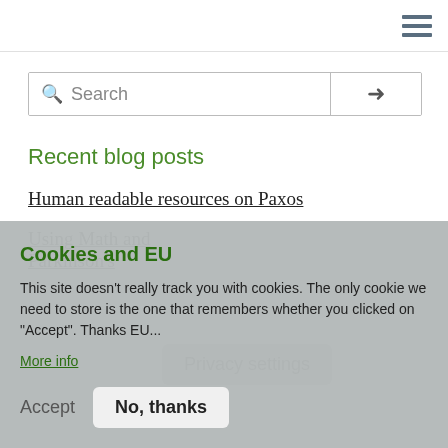Recent blog posts
Human readable resources on Paxos
Using Math and with Parkinson's
Privacy settings
Cookies and EU
This site doesn't really track you with cookies. The only cookie we need to store is the one that remembers whether you clicked on "Accept". Thanks EU...
More info
Accept
No, thanks